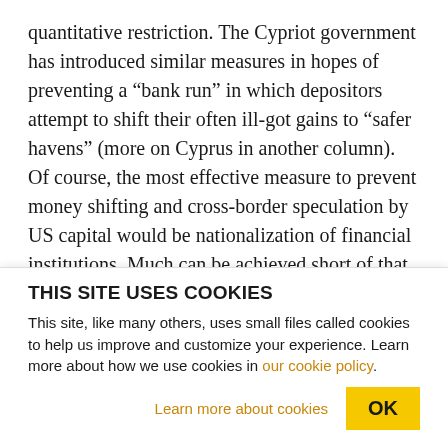quantitative restriction. The Cypriot government has introduced similar measures in hopes of preventing a “bank run” in which depositors attempt to shift their often ill-got gains to “safer havens” (more on Cyprus in another column). Of course, the most effective measure to prevent money shifting and cross-border speculation by US capital would be nationalization of financial institutions. Much can be achieved short of that.
As for keeping productive investment at home, the
THIS SITE USES COOKIES
This site, like many others, uses small files called cookies to help us improve and customize your experience. Learn more about how we use cookies in our cookie policy.
Learn more about cookies   OK